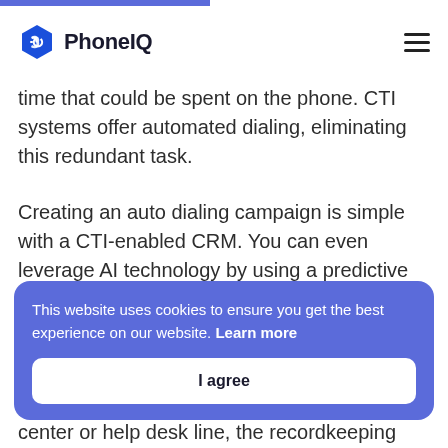PhoneIQ
time that could be spent on the phone. CTI systems offer automated dialing, eliminating this redundant task.
Creating an auto dialing campaign is simple with a CTI-enabled CRM. You can even leverage AI technology by using a predictive dialer. These dialers call numbers before agents are even available, minimizing the amount of time spent
This website uses cookies to ensure you get the best experience on our website. Learn more
I agree
center or help desk line, the recordkeeping